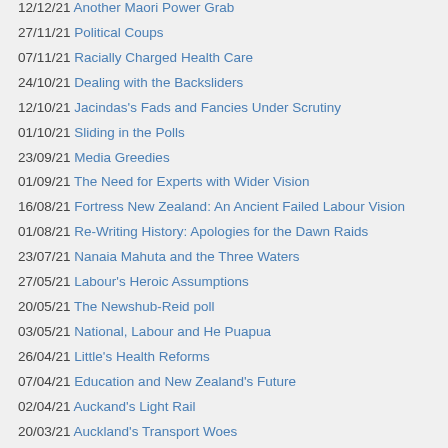12/12/21 Another Maori Power Grab
27/11/21 Political Coups
07/11/21 Racially Charged Health Care
24/10/21 Dealing with the Backsliders
12/10/21 Jacindas's Fads and Fancies Under Scrutiny
01/10/21 Sliding in the Polls
23/09/21 Media Greedies
01/09/21 The Need for Experts with Wider Vision
16/08/21 Fortress New Zealand: An Ancient Failed Labour Vision
01/08/21 Re-Writing History: Apologies for the Dawn Raids
23/07/21 Nanaia Mahuta and the Three Waters
27/05/21 Labour's Heroic Assumptions
20/05/21 The Newshub-Reid poll
03/05/21 National, Labour and He Puapua
26/04/21 Little's Health Reforms
07/04/21 Education and New Zealand's Future
02/04/21 Auckand's Light Rail
20/03/21 Auckland's Transport Woes